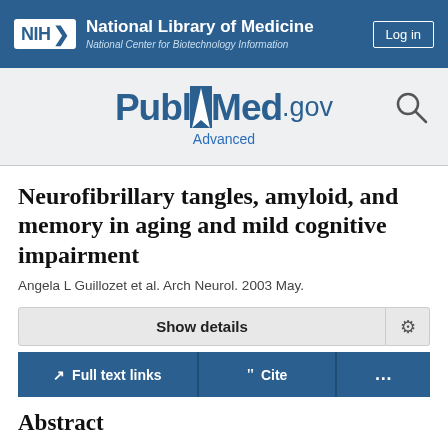NIH National Library of Medicine National Center for Biotechnology Information
[Figure (logo): PubMed.gov logo with search icon and Advanced link]
Neurofibrillary tangles, amyloid, and memory in aging and mild cognitive impairment
Angela L Guillozet et al. Arch Neurol. 2003 May.
Show details
Full text links | Cite | ...
Abstract